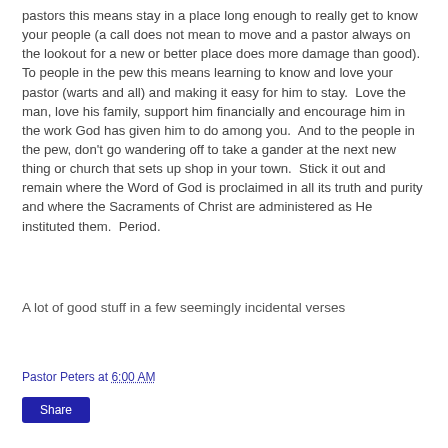pastors this means stay in a place long enough to really get to know your people (a call does not mean to move and a pastor always on the lookout for a new or better place does more damage than good).  To people in the pew this means learning to know and love your pastor (warts and all) and making it easy for him to stay.  Love the man, love his family, support him financially and encourage him in the work God has given him to do among you.  And to the people in the pew, don't go wandering off to take a gander at the next new thing or church that sets up shop in your town.  Stick it out and remain where the Word of God is proclaimed in all its truth and purity and where the Sacraments of Christ are administered as He instituted them.  Period.
A lot of good stuff in a few seemingly incidental verses
Pastor Peters at 6:00 AM
Share